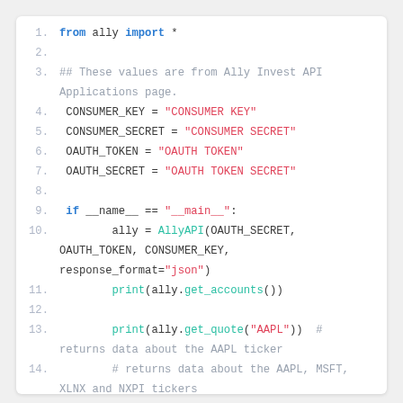[Figure (screenshot): Python code block showing Ally Invest API usage example with imports, credential configuration (CONSUMER_KEY, CONSUMER_SECRET, OAUTH_TOKEN, OAUTH_SECRET), and main block with AllyAPI calls for get_accounts() and get_quote() functions.]